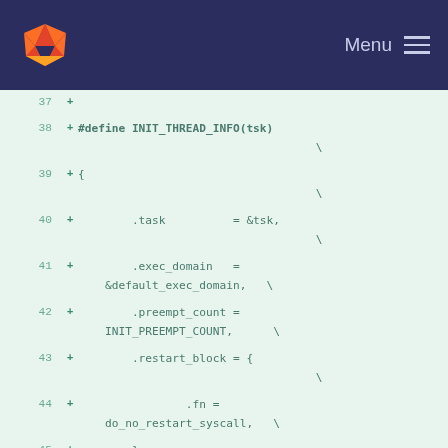Menu
[Figure (screenshot): GitLab logo (fox/diamond shape in orange and red)]
37  +
38  + #define INIT_THREAD_INFO(tsk)  \
39  + {                              \
40  +         .task          = &tsk, \
41  +         .exec_domain   = &default_exec_domain,  \
42  +         .preempt_count = INIT_PREEMPT_COUNT,    \
43  +         .restart_block = {     \
44  +                 .fn = do_no_restart_syscall,    \
45  +         },                     \
46  + }
47  +
48  + #define init stack